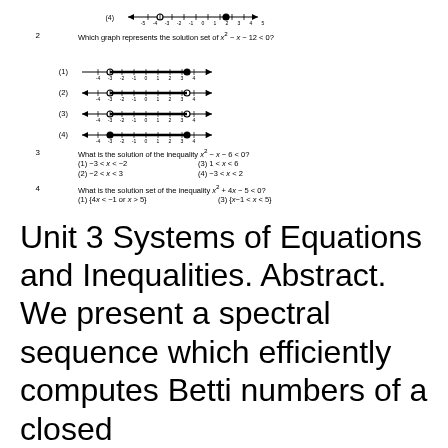[Figure (other): Number line (4) with arrows, showing range from -5 to 5]
2. Which graph represents the solution set of x² - x - 12 < 0?
[Figure (other): Number line options (1)(2)(3)(4) for question 2]
3. What is the solution of the inequality x² - x - 6 < 0?
(1) -3 < x < -2   (3) 1 < x < 6
(2) -2 < x < 3    (4) -3 < x < 2
4. What is the solution set of the inequality x² + 4x - 5 < 0?
(1) {4x < -1 or x > 5}   (3) {x - 1 < x < 5}
(2) {x < -5 or x > 1}   (4) {x -5 < x < 1}
5. When a baseball is hit by a batter, the height of the ball, h(t), at time t, t ≥ 0, is determined by the equation h(t) = -16t² + 64t + 4. For which interval of time is the height of the ball greater than or equal to 52 feet?
Unit 3 Systems of Equations and Inequalities. Abstract. We present a spectral sequence which efficiently computes Betti numbers of a closed